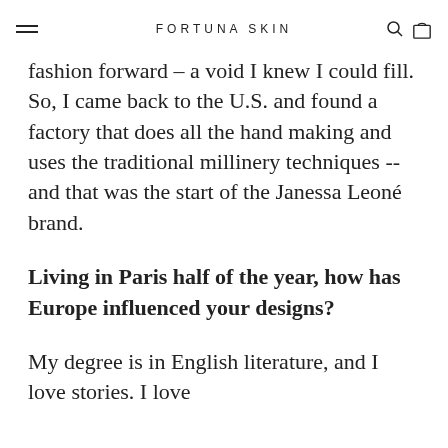FORTUNA SKIN
fashion forward - a void I knew I could fill. So, I came back to the U.S. and found a factory that does all the hand making and uses the traditional millinery techniques -- and that was the start of the Janessa Leoné brand.
Living in Paris half of the year, how has Europe influenced your designs?
My degree is in English literature, and I love stories. I love